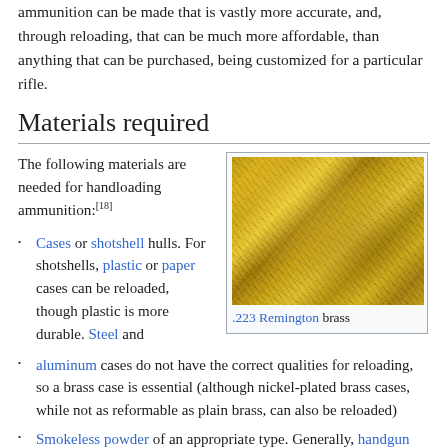ammunition can be made that is vastly more accurate, and, through reloading, that can be much more affordable, than anything that can be purchased, being customized for a particular rifle.
Materials required
The following materials are needed for handloading ammunition:[18]
[Figure (photo): Pile of .223 Remington brass cartridge cases, golden colored, scattered in a heap]
.223 Remington brass
Cases or shotshell hulls. For shotshells, plastic or paper cases can be reloaded, though plastic is more durable. Steel and aluminum cases do not have the correct qualities for reloading, so a brass case is essential (although nickel-plated brass cases, while not as reformable as plain brass, can also be reloaded)
Smokeless powder of an appropriate type. Generally, handgun cartridges and shotshells use faster powders, rifle cartridges